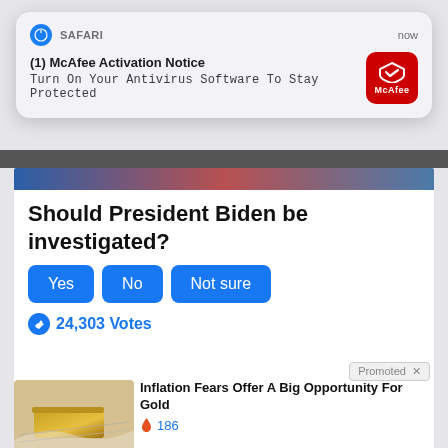[Figure (screenshot): Safari browser notification popup: '(1) McAfee Activation Notice — Turn On Your Antivirus Software To Stay Protected', with McAfee red icon, timestamped 'now']
Should President Biden be investigated?
[Figure (screenshot): Poll with three blue buttons: Yes, No, Not sure]
24,303 Votes
Promoted ×
[Figure (photo): Gold bars on a financial chart background]
Inflation Fears Offer A Big Opportunity For Gold
🔥 186
[Figure (photo): Video thumbnail of a man speaking, with play button overlay]
Biden Probably Wants This Video Destroyed — Drastic Changes Happening To The US Dollar?
🔥 2,267